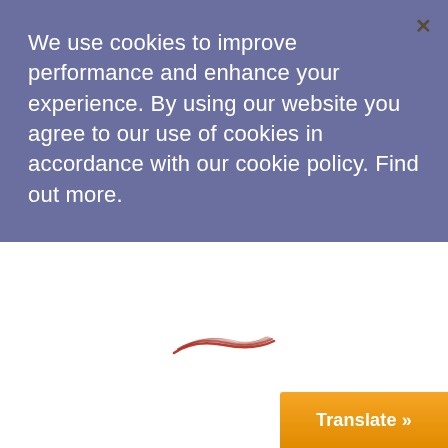We use cookies to improve performance and enhance your experience. By using our website you agree to our use of cookies in accordance with our cookie policy. Find out more.
[Figure (logo): Small decorative logo or swoosh graphic in red/orange tones, centered horizontally near the top of the white area below the cookie banner]
Translate »